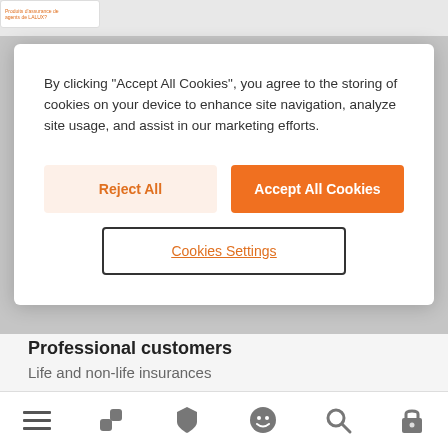[Figure (screenshot): Partial view of a card with orange text lines, partially cropped at the top of the page]
By clicking “Accept All Cookies”, you agree to the storing of cookies on your device to enhance site navigation, analyze site usage, and assist in our marketing efforts.
Reject All
Accept All Cookies
Cookies Settings
Professional customers
Life and non-life insurances
[Figure (infographic): Bottom navigation bar with icons: hamburger menu, logo/brand icon, shield icon, smiley face icon, search icon, lock icon]